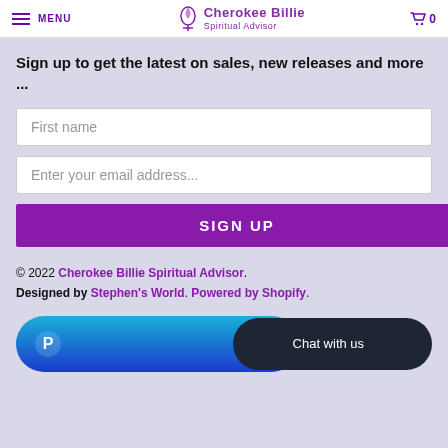MENU | Cherokee Billie Spiritual Advisor | 0
Sign up to get the latest on sales, new releases and more ...
First name
Enter your email address...
SIGN UP
© 2022 Cherokee Billie Spiritual Advisor. Designed by Stephen's World. Powered by Shopify.
[Figure (other): PayPal button (blue gradient pill) and Chat with us button (dark pill) at the bottom of the page]